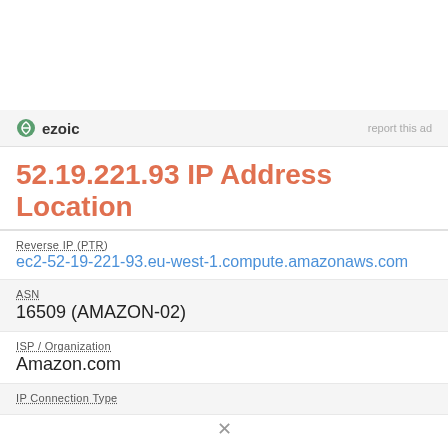[Figure (logo): Ezoic logo with green circular icon and 'ezoic' text, with 'report this ad' text on the right]
52.19.221.93 IP Address Location
Reverse IP (PTR)
ec2-52-19-221-93.eu-west-1.compute.amazonaws.com
ASN
16509 (AMAZON-02)
ISP / Organization
Amazon.com
IP Connection Type